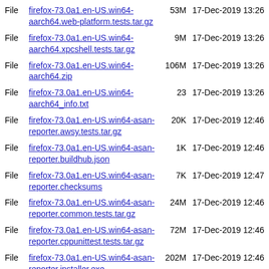File firefox-73.0a1.en-US.win64-aarch64.web-platform.tests.tar.gz 53M 17-Dec-2019 13:26
File firefox-73.0a1.en-US.win64-aarch64.xpcshell.tests.tar.gz 9M 17-Dec-2019 13:26
File firefox-73.0a1.en-US.win64-aarch64.zip 106M 17-Dec-2019 13:26
File firefox-73.0a1.en-US.win64-aarch64_info.txt 23 17-Dec-2019 13:26
File firefox-73.0a1.en-US.win64-asan-reporter.awsy.tests.tar.gz 20K 17-Dec-2019 12:46
File firefox-73.0a1.en-US.win64-asan-reporter.buildhub.json 1K 17-Dec-2019 12:46
File firefox-73.0a1.en-US.win64-asan-reporter.checksums 7K 17-Dec-2019 12:47
File firefox-73.0a1.en-US.win64-asan-reporter.common.tests.tar.gz 24M 17-Dec-2019 12:46
File firefox-73.0a1.en-US.win64-asan-reporter.cppunittest.tests.tar.gz 72M 17-Dec-2019 12:46
File firefox-73.0a1.en-US.win64-asan-reporter.installer.exe 202M 17-Dec-2019 12:46
File firefox-73.0a1.en-US.win64-asan-reporter.json 913 17-Dec-2019 12:46
File firefox-73.0a1.en-US.win64-asan- (partial)